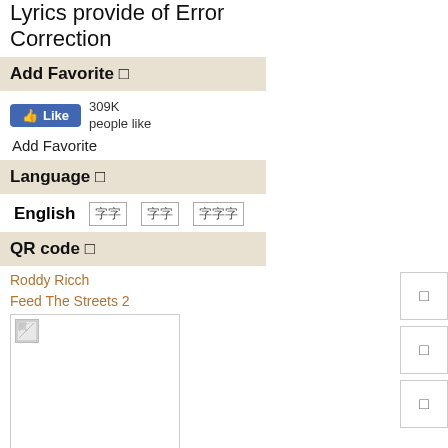Lyrics provide of Error Correction
Add Favorite 🔲
[Figure (other): Facebook Like button showing 309K people like]
Add Favorite
Language 🔲
English 🀫🀫 🀫🀫 🀫🀫🀫
QR code 🔲
Roddy Ricch
Feed The Streets 2
[Figure (other): QR code image placeholder (broken image icon)]